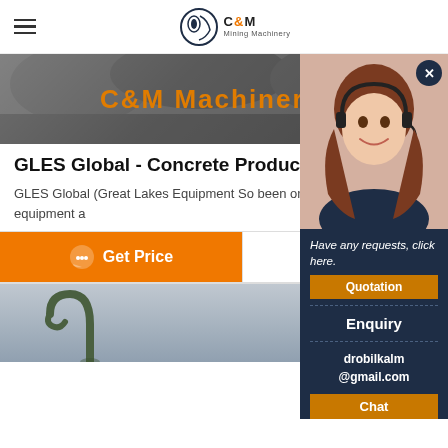C&M Mining Machinery
[Figure (screenshot): C&M Machinery banner image with orange text overlay on dark rocky background]
GLES Global - Concrete Products
GLES Global (Great Lakes Equipment So... been one of the leading used equipment a...
[Figure (screenshot): Get Price and Send message action buttons]
[Figure (screenshot): Product equipment photo - curved metal pipe/hook on blue-grey background]
[Figure (screenshot): Chat panel with support agent photo, Have any requests click here, Quotation button, Enquiry, drobilkalm@gmail.com, Chat button]